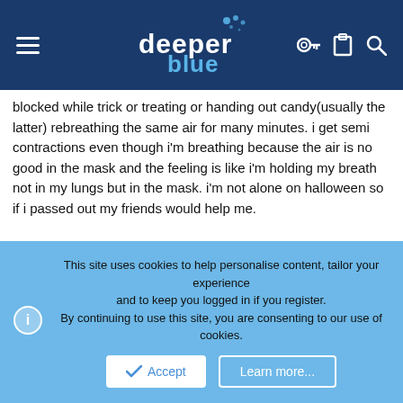deeper blue — navigation header
blocked while trick or treating or handing out candy(usually the latter) rebreathing the same air for many minutes. i get semi contractions even though i'm breathing because the air is no good in the mask and the feeling is like i'm holding my breath not in my lungs but in the mask. i'm not alone on halloween so if i passed out my friends would help me.
[Figure (photo): SUUNTO branded advertisement showing two scuba divers underwater, one smaller diver in yellow goggles making an OK sign and a larger diver in the background with bubbles rising. Blue underwater scene.]
This site uses cookies to help personalise content, tailor your experience and to keep you logged in if you register. By continuing to use this site, you are consenting to our use of cookies.